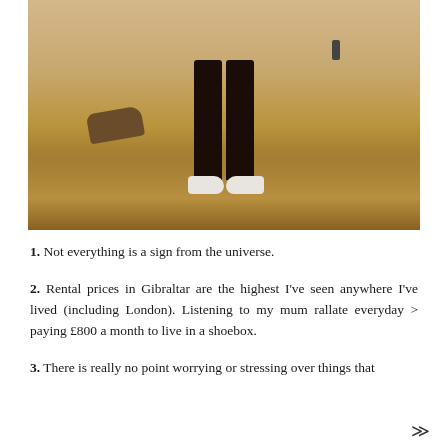[Figure (photo): Outdoor photo showing the lower body of a person wearing black trousers and white sneakers, standing on dry golden grassland. A tree stump is visible in the left background, and a small figure stands in the far right background.]
1. Not everything is a sign from the universe.
2. Rental prices in Gibraltar are the highest I've seen anywhere I've lived (including London). Listening to my mum rallate everyday > paying £800 a month to live in a shoebox.
3. There is really no point worrying or stressing over things that